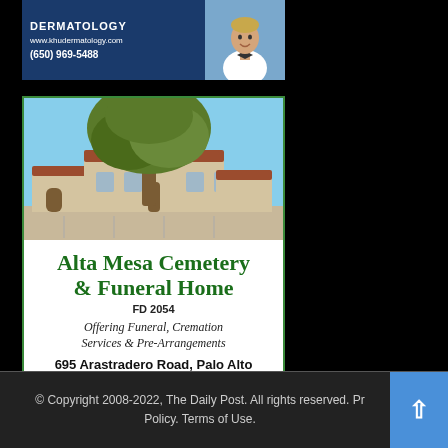[Figure (other): Khu Dermatology advertisement banner with blue background, website www.khudermatology.com, phone (650) 969-5488, and photo of doctor in white coat]
[Figure (photo): Alta Mesa Cemetery & Funeral Home advertisement with photo of Spanish-style building with large tree, text: Alta Mesa Cemetery & Funeral Home, FD 2054, Offering Funeral, Cremation Services & Pre-Arrangements, 695 Arastradero Road, Palo Alto, between El Camino Real & Foothill Expressway, (650) 493-1041]
© Copyright 2008-2022, The Daily Post. All rights reserved. Privacy Policy. Terms of Use.